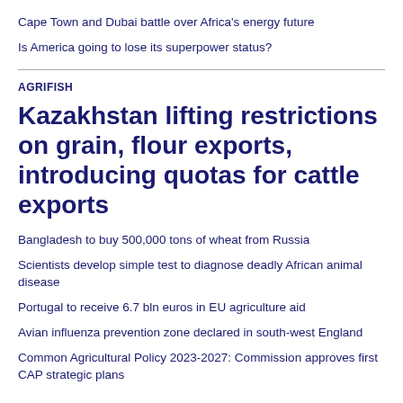Cape Town and Dubai battle over Africa's energy future
Is America going to lose its superpower status?
AGRIFISH
Kazakhstan lifting restrictions on grain, flour exports, introducing quotas for cattle exports
Bangladesh to buy 500,000 tons of wheat from Russia
Scientists develop simple test to diagnose deadly African animal disease
Portugal to receive 6.7 bln euros in EU agriculture aid
Avian influenza prevention zone declared in south-west England
Common Agricultural Policy 2023-2027: Commission approves first CAP strategic plans